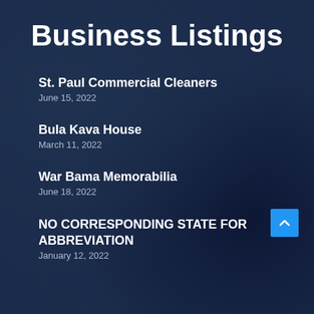Business Listings
St. Paul Commercial Cleaners
June 15, 2022
Bula Kava House
March 11, 2022
War Bama Memorabilia
June 18, 2022
NO CORRESPONDING STATE FOR ABBREVIATION
January 12, 2022